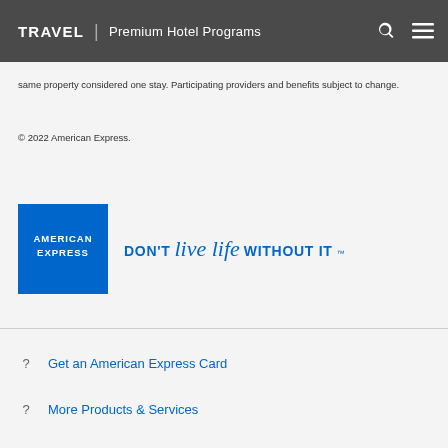TRAVEL | Premium Hotel Programs
same property considered one stay. Participating providers and benefits subject to change.
© 2022 American Express.
[Figure (logo): American Express logo with blue square containing text AMERICAN EXPRESS, accompanied by tagline DON'T live life WITHOUT IT™]
Get an American Express Card
More Products & Services